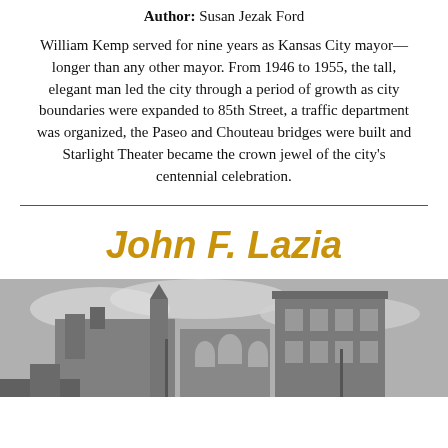Author: Susan Jezak Ford
William Kemp served for nine years as Kansas City mayor—longer than any other mayor. From 1946 to 1955, the tall, elegant man led the city through a period of growth as city boundaries were expanded to 85th Street, a traffic department was organized, the Paseo and Chouteau bridges were built and Starlight Theater became the crown jewel of the city's centennial celebration.
John F. Lazia
[Figure (photo): Black and white photograph of a historic building with ornate architecture, appearing to be a church or civic building with towers and arched windows.]